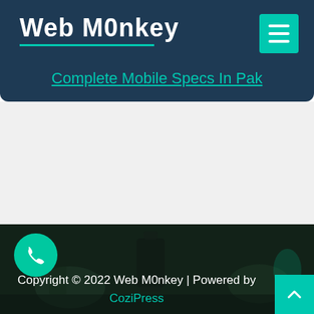Web M0nkey
Complete Mobile Specs In Pak
[Figure (photo): Darkened photo of a desk with plants, a lantern/lamp, and decorative objects serving as the website footer background.]
Copyright © 2022 Web M0nkey | Powered by CoziPress